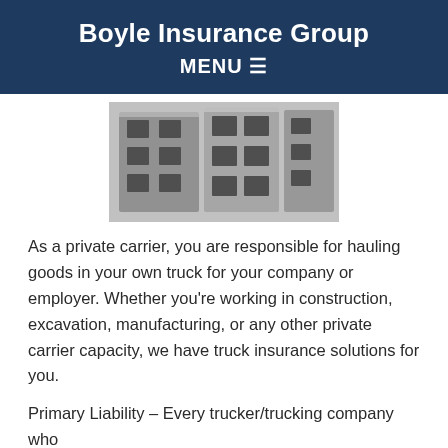Boyle Insurance Group
MENU ☰
[Figure (photo): Black and white photo of trucks or large commercial vehicles parked closely together, viewed from a low angle showing the sides and fronts of the vehicles.]
As a private carrier, you are responsible for hauling goods in your own truck for your company or employer. Whether you're working in construction, excavation, manufacturing, or any other private carrier capacity, we have truck insurance solutions for you.
Primary Liability – Every trucker/trucking company who